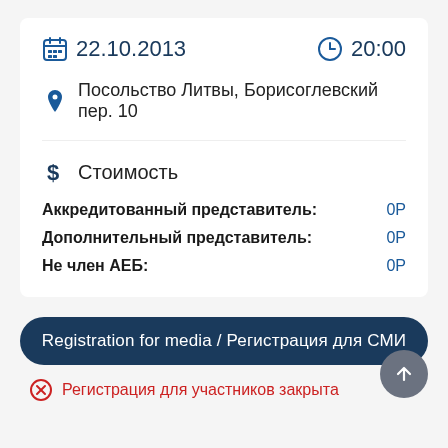22.10.2013
20:00
Посольство Литвы, Борисоглевский пер. 10
Стоимость
| Аккредитованный представитель: | 0Р |
| Дополнительный представитель: | 0Р |
| Не член АЕБ: | 0Р |
Registration for media / Регистрация для СМИ
Регистрация для участников закрыта